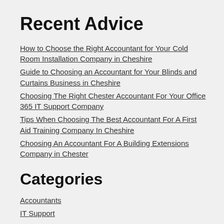Recent Advice
How to Choose the Right Accountant for Your Cold Room Installation Company in Cheshire
Guide to Choosing an Accountant for Your Blinds and Curtains Business in Cheshire
Choosing The Right Chester Accountant For Your Office 365 IT Support Company
Tips When Choosing The Best Accountant For A First Aid Training Company In Cheshire
Choosing An Accountant For A Building Extensions Company in Chester
Categories
Accountants
IT Support